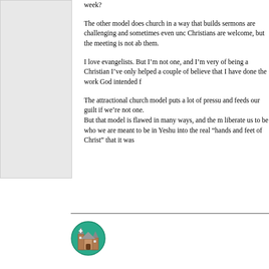week?
The other model does church in a way that builds sermons are challenging and sometimes even unc Christians are welcome, but the meeting is not ab them.
I love evangelists. But I’m not one, and I’m very of being a Christian I’ve only helped a couple of believe that I have done the work God intended f
The attractional church model puts a lot of pressu and feeds our guilt if we’re not one.
But that model is flawed in many ways, and the r liberate us to be who we are meant to be in Yeshu into the real “hands and feet of Christ” that it was
[Figure (illustration): A circular icon depicting a church building with a green background, showing a house-style church with a cross/steeple.]